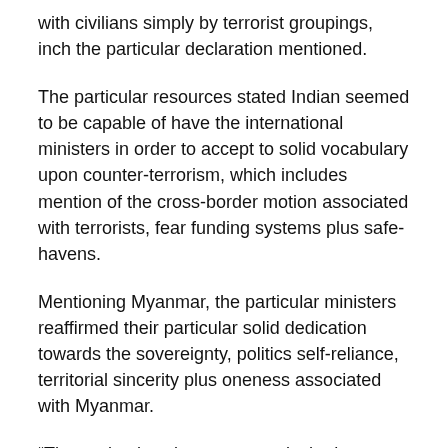with civilians simply by terrorist groupings, inch the particular declaration mentioned.
The particular resources stated Indian seemed to be capable of have the international ministers in order to accept to solid vocabulary upon counter-terrorism, which includes mention of the cross-border motion associated with terrorists, fear funding systems plus safe-havens.
Mentioning Myanmar, the particular ministers reaffirmed their particular solid dedication towards the sovereignty, politics self-reliance, territorial sincerity plus oneness associated with Myanmar.
“They voiced assistance towards the latest Organization associated with Southeast Hard anodized cookware Nations” (ASEAN) effort as well as the execution from the